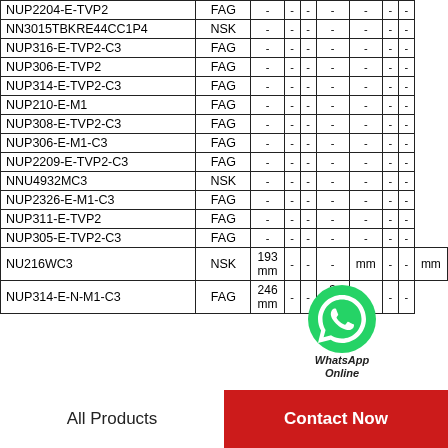| Part Number | Brand | Col3 | Col4 | Col5 | Col6 | Col7 | Col8 | Col9 |
| --- | --- | --- | --- | --- | --- | --- | --- | --- |
| NUP2204-E-TVP2 | FAG | - | - | - | - | - | - | - |
| NN3015TBKRE44CC1P4 | NSK | - | - | - | - | - | - | - |
| NUP316-E-TVP2-C3 | FAG | - | - | - | - | - | - | - |
| NUP306-E-TVP2 | FAG | - | - | - | - | - | - | - |
| NUP314-E-TVP2-C3 | FAG | - | - | - | - | - | - | - |
| NUP210-E-M1 | FAG | - | - | - | - | - | - | - |
| NUP308-E-TVP2-C3 | FAG | - | - | - | - | - | - | - |
| NUP306-E-M1-C3 | FAG | - | - | - | - | - | - | - |
| NUP2209-E-TVP2-C3 | FAG | - | - | - | - | [WhatsApp] | - | - |
| NNU4932MC3 | NSK | - | - | - | - | - | - | - |
| NUP2326-E-M1-C3 | FAG | - | - | - | - | - | - | - |
| NUP311-E-TVP2 | FAG | - | - | - | - | - | - | - |
| NUP305-E-TVP2-C3 | FAG | - | - | - | - | - | - | - |
| NU216WC3 | NSK | 193 mm | - | - | - | mm | - | - | mm |
| NUP314-E-N-M1-C3 | FAG | 246 mm | - | - | 3 mm | - | - | - |
[Figure (other): WhatsApp Online chat button overlay with green WhatsApp icon and italic text 'WhatsApp Online']
All Products
Contact Now